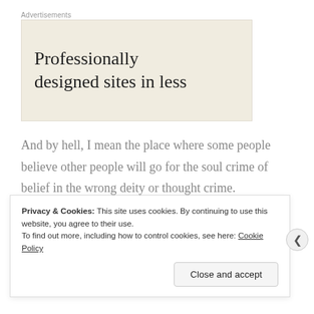Advertisements
[Figure (other): Advertisement banner with text: Professionally designed sites in less]
And by hell, I mean the place where some people believe other people will go for the soul crime of belief in the wrong deity or thought crime.
Privacy & Cookies: This site uses cookies. By continuing to use this website, you agree to their use.
To find out more, including how to control cookies, see here: Cookie Policy
Close and accept